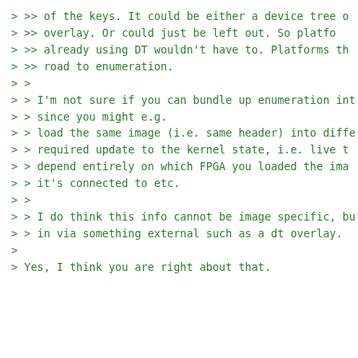> >> of the keys.  It could be either a device tree o
> >> overlay.  Or could just be left out.  So platfo
> >> already using DT wouldn't have to.  Platforms th
> >> road to enumeration.
> >
> > I'm not sure if you can bundle up enumeration int
> > since you might e.g.
> > load the same image (i.e. same header) into diffe
> > required update to the kernel state, i.e. live t
> > depend entirely on which FPGA you loaded the ima
> > it's connected to etc.
> >
> > I do think this info cannot be image specific, bu
> > in via something external such as a dt overlay.
>
> Yes, I think you are right about that.